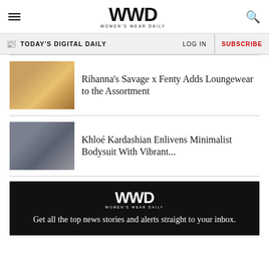WWD WOMEN'S WEAR DAILY
TODAY'S DIGITAL DAILY
Rihanna's Savage x Fenty Adds Loungewear to the Assortment
Khloé Kardashian Enlivens Minimalist Bodysuit With Vibrant...
[Figure (infographic): WWD ad banner: Get all the top news stories and alerts straight to your inbox.]